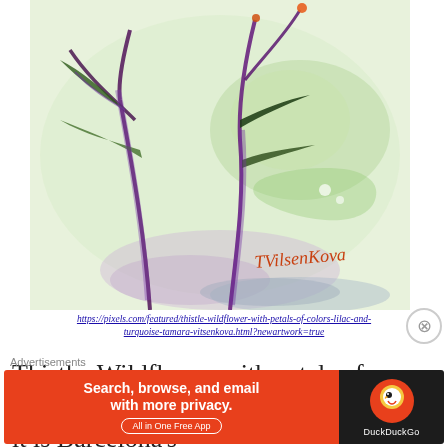[Figure (illustration): Watercolor painting of a thistle wildflower with purple/violet stems and leaves, green and lilac washes, with artist signature 'TVilsenKova' in orange-red script at the bottom right]
https://pixels.com/featured/thistle-wildflower-with-petals-of-colors-lilac-and-turquoise-tamara-vitsenkova.html?newartwork=true
Thistle. Wildflower with petals of colors azur and silver. In my opinion, it is Barcelona's fi...
Advertisements
[Figure (screenshot): DuckDuckGo advertisement banner: orange left panel reading 'Search, browse, and email with more privacy. All in One Free App' and dark right panel with DuckDuckGo logo]